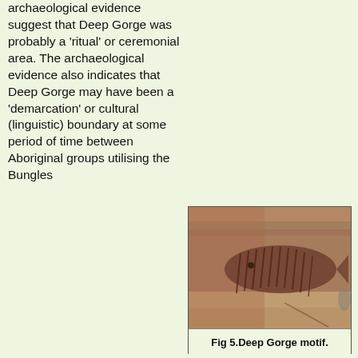archaeological evidence suggest that Deep Gorge was probably a 'ritual' or ceremonial area. The archaeological evidence also indicates that Deep Gorge may have been a 'demarcation' or cultural (linguistic) boundary at some period of time between Aboriginal groups utilising the Bungles
[Figure (photo): Photograph of a rock art motif at Deep Gorge showing a fish or animal figure with striped/lined body painted on sandstone rock surface.]
Fig 5.Deep Gorge motif.